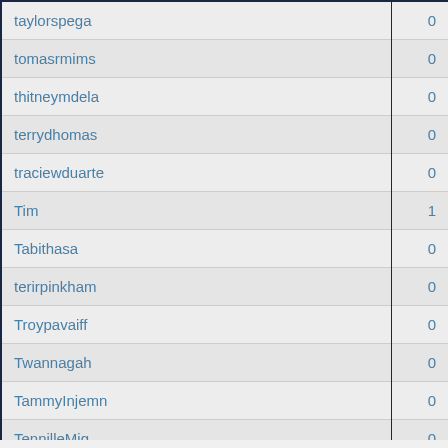| Username | Value |
| --- | --- |
| taylorspega | 0 |
| tomasrmims | 0 |
| thitneymdela | 0 |
| terrydhomas | 0 |
| traciewduarte | 0 |
| Tim | 1 |
| Tabithasa | 0 |
| terirpinkham | 0 |
| Troypavaiff | 0 |
| Twannagah | 0 |
| TammyInjemn | 0 |
| TennilleMig | 0 |